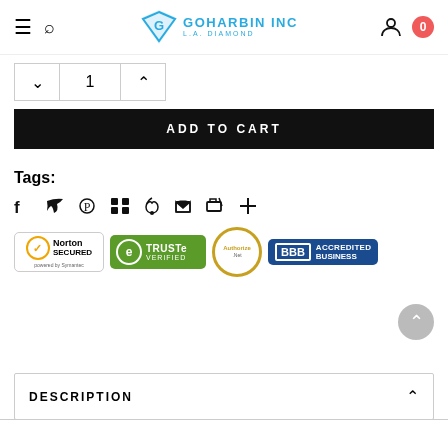[Figure (logo): Goharbin Inc L.A. Diamond logo with diamond shape icon in blue]
1
ADD TO CART
Tags:
[Figure (infographic): Social sharing icons: Facebook, Twitter, Pinterest, Grid, Feather, Heart, Email, Plus]
[Figure (infographic): Trust badges: Norton Secured powered by Symantec, TRUSTe Verified, Authorize.Net, BBB Accredited Business]
DESCRIPTION